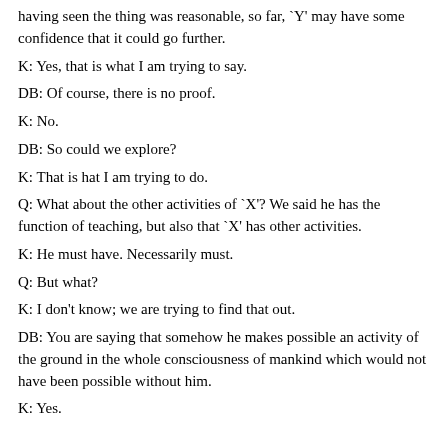having seen the thing was reasonable, so far, `Y' may have some confidence that it could go further.
K: Yes, that is what I am trying to say.
DB: Of course, there is no proof.
K: No.
DB: So could we explore?
K: That is hat I am trying to do.
Q: What about the other activities of `X'? We said he has the function of teaching, but also that `X' has other activities.
K: He must have. Necessarily must.
Q: But what?
K: I don't know; we are trying to find that out.
DB: You are saying that somehow he makes possible an activity of the ground in the whole consciousness of mankind which would not have been possible without him.
K: Yes.